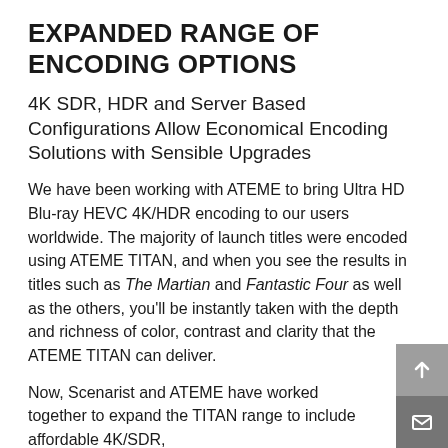EXPANDED RANGE OF ENCODING OPTIONS
4K SDR, HDR and Server Based Configurations Allow Economical Encoding Solutions with Sensible Upgrades
We have been working with ATEME to bring Ultra HD Blu-ray HEVC 4K/HDR encoding to our users worldwide. The majority of launch titles were encoded using ATEME TITAN, and when you see the results in titles such as The Martian and Fantastic Four as well as the others, you'll be instantly taken with the depth and richness of color, contrast and clarity that the ATEME TITAN can deliver.
Now, Scenarist and ATEME have worked together to expand the TITAN range to include affordable 4K/SDR,